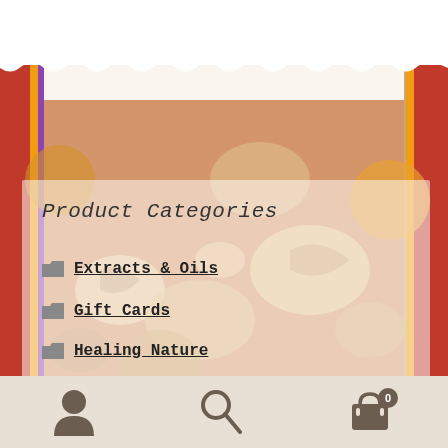[Figure (photo): Colorful nuts and seeds background image with decorative textile border]
Product Categories
Extracts & Oils
Gift Cards
Healing Nature
Nourishing Earth
Click Here to learn about Payment Methods and Shipping Information! Dismiss
Teacher Plants
[Figure (screenshot): Bottom navigation bar with user, search, and cart icons]